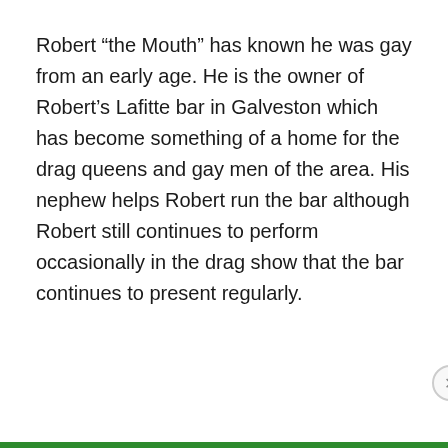Robert “the Mouth” has known he was gay from an early age. He is the owner of Robert’s Lafitte bar in Galveston which has become something of a home for the drag queens and gay men of the area. His nephew helps Robert run the bar although Robert still continues to perform occasionally in the drag show that the bar continues to present regularly.
Privacy & Cookies: This site uses cookies. By continuing to use this website, you agree to their use. To find out more, including how to control cookies, see here: Cookie Policy